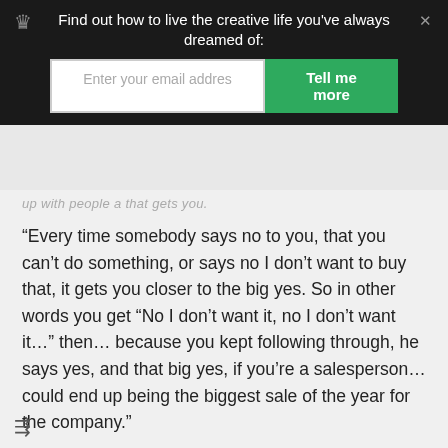Find out how to live the creative life you've always dreamed of:
up with people a that gets you.
“Every time somebody says no to you, that you can’t do something, or says no I don’t want to buy that, it gets you closer to the big yes. So in other words you get “No I don’t want it, no I don’t want it…” then… because you kept following through, he says yes, and that big yes, if you’re a salesperson… could end up being the biggest sale of the year for the company.”
We need to constantly push ourselves, especially when we are down. It’s easy to lose morale when things aren’t going your way, but if you really want to achieve your goals, you have to be persistent.